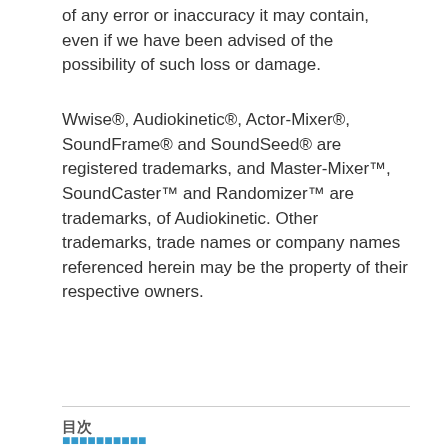of any error or inaccuracy it may contain, even if we have been advised of the possibility of such loss or damage.
Wwise®, Audiokinetic®, Actor-Mixer®, SoundFrame® and SoundSeed® are registered trademarks, and Master-Mixer™, SoundCaster™ and Randomizer™ are trademarks, of Audiokinetic. Other trademarks, trade names or company names referenced herein may be the property of their respective owners.
目次
はじめに (Introduction link)
1. ■■■■■■■■■
2. ■■■■■■■■■
3. ■■■■■
4. ■■■■■■■
5. ■■■■■■■■■■■■■■